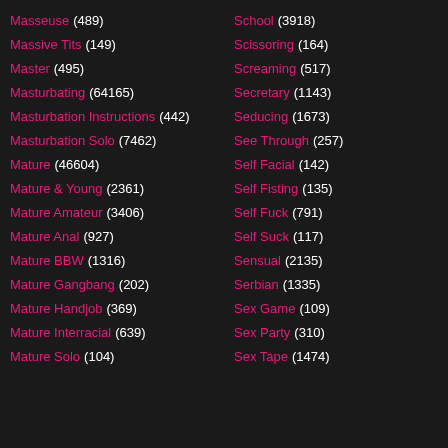Masseuse (489)
School (3918)
Massive Tits (149)
Scissoring (164)
Master (495)
Screaming (517)
Masturbating (64165)
Secretary (1143)
Masturbation Instructions (442)
Seducing (1673)
Masturbation Solo (7462)
See Through (257)
Mature (46604)
Self Facial (142)
Mature & Young (2361)
Self Fisting (135)
Mature Amateur (3406)
Self Fuck (791)
Mature Anal (927)
Self Suck (117)
Mature BBW (1316)
Sensual (2135)
Mature Gangbang (202)
Serbian (1335)
Mature Handjob (369)
Sex Game (109)
Mature Interracial (639)
Sex Party (310)
Mature Solo (104)
Sex Tape (1474)